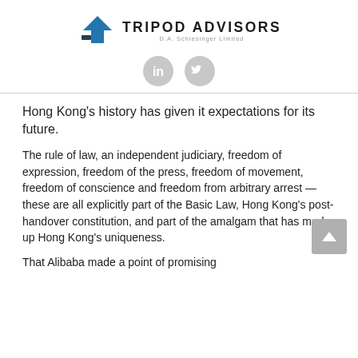[Figure (logo): Tripod Advisors logo with house/arrow icon and text 'TRIPOD ADVISORS D.A. Schlesinger Limited']
[Figure (other): LinkedIn and Twitter social media icons (grey circles with white logos)]
Hong Kong’s history has given it expectations for its future.
The rule of law, an independent judiciary, freedom of expression, freedom of the press, freedom of movement, freedom of conscience and freedom from arbitrary arrest — these are all explicitly part of the Basic Law, Hong Kong’s post-handover constitution, and part of the amalgam that has made up Hong Kong’s uniqueness.
That Alibaba made a point of promising